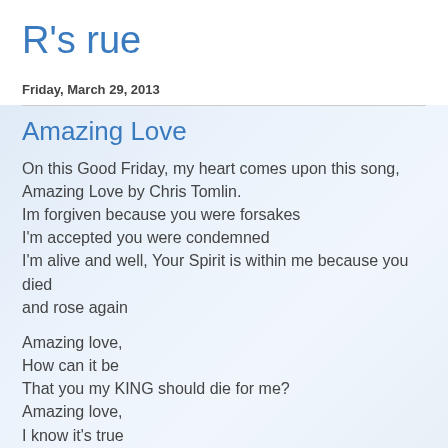R's rue
Friday, March 29, 2013
Amazing Love
On this Good Friday, my heart comes upon this song, Amazing Love by Chris Tomlin.
Im forgiven because you were forsakes
I'm accepted you were condemned
I'm alive and well, Your Spirit is within me because you died and rose again
Amazing love,
How can it be
That you my KING should die for me?
Amazing love,
I know it's true